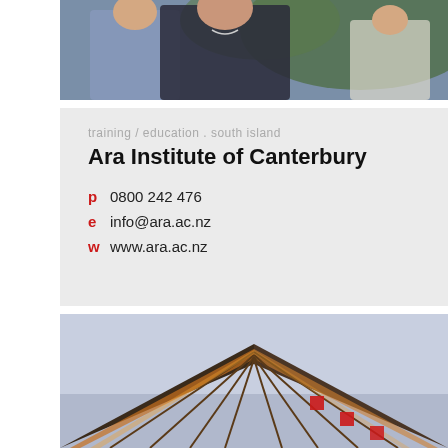[Figure (photo): Top photo showing two people, one in a dark pinstripe blazer with a necklace, outdoors with greenery in background]
training / education . south island
Ara Institute of Canterbury
p  0800 242 476
e  info@ara.ac.nz
w  www.ara.ac.nz
[Figure (photo): Bottom photo showing the corner rooftop of a building with brick-like panels lit from inside with warm yellow light, against a dusk sky]